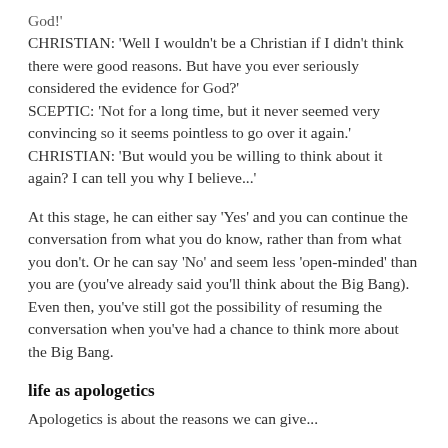God!'
CHRISTIAN: 'Well I wouldn't be a Christian if I didn't think there were good reasons. But have you ever seriously considered the evidence for God?'
SCEPTIC: 'Not for a long time, but it never seemed very convincing so it seems pointless to go over it again.'
CHRISTIAN: 'But would you be willing to think about it again? I can tell you why I believe...'
At this stage, he can either say 'Yes' and you can continue the conversation from what you do know, rather than from what you don't. Or he can say 'No' and seem less 'open-minded' than you are (you've already said you'll think about the Big Bang). Even then, you've still got the possibility of resuming the conversation when you've had a chance to think more about the Big Bang.
life as apologetics
Apologetics is about the reasons behind...